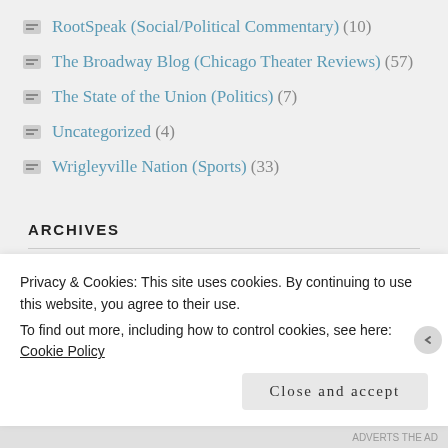RootSpeak (Social/Political Commentary) (10)
The Broadway Blog (Chicago Theater Reviews) (57)
The State of the Union (Politics) (7)
Uncategorized (4)
Wrigleyville Nation (Sports) (33)
ARCHIVES
April 2022 (1)
Privacy & Cookies: This site uses cookies. By continuing to use this website, you agree to their use.
To find out more, including how to control cookies, see here: Cookie Policy
Close and accept